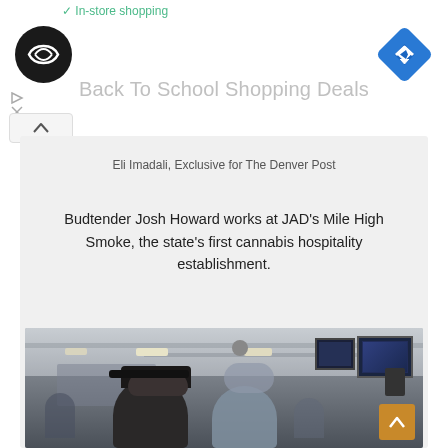✓ In-store shopping
[Figure (logo): Black circle logo with white infinity/arrow symbol]
[Figure (logo): Blue diamond navigation/directions icon with white arrow]
Back To School Shopping Deals
Eli Imadali, Exclusive for The Denver Post
Budtender Josh Howard works at JAD's Mile High Smoke, the state's first cannabis hospitality establishment.
[Figure (photo): Interior of JAD's Mile High Smoke cannabis hospitality establishment, showing people inside the venue with ceiling lights, TV screens, and bar/lounge area]